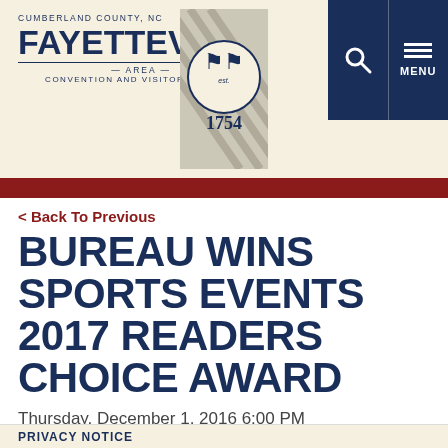CUMBERLAND COUNTY, NC FAYETTEVILLE AREA CONVENTION AND VISITORS BUREAU
< Back To Previous
BUREAU WINS SPORTS EVENTS 2017 READERS CHOICE AWARD
Thursday, December 1, 2016 6:00 PM
Fayetteville Area Convention & Visitors Bureau (FACVB) one of five North Carolina winners
PRIVACY NOTICE